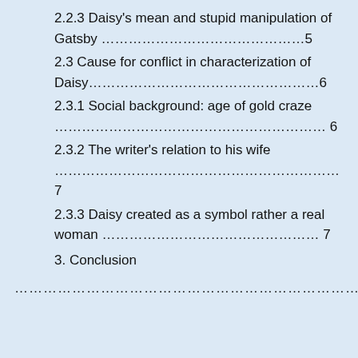2.2.3 Daisy's mean and stupid manipulation of Gatsby …………………………………5
2.3 Cause for conflict in characterization of Daisy………………………………………6
2.3.1 Social background: age of gold craze ……………………………………………… 6
2.3.2 The writer's relation to his wife …………………………………………………7
2.3.3 Daisy created as a symbol rather a real woman ………………………………… 7
3. Conclusion
………………………………………………………………………